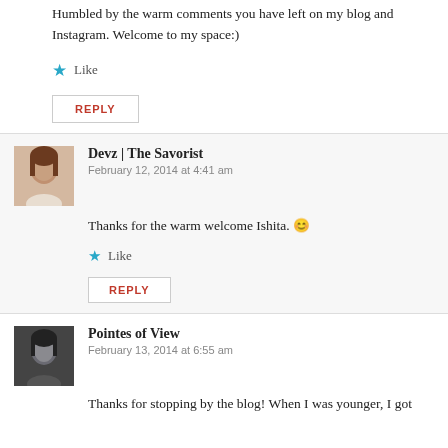Humbled by the warm comments you have left on my blog and Instagram. Welcome to my space:)
★ Like
REPLY
Devz | The Savorist
February 12, 2014 at 4:41 am
Thanks for the warm welcome Ishita. 🙂
★ Like
REPLY
Pointes of View
February 13, 2014 at 6:55 am
Thanks for stopping by the blog! When I was younger, I got